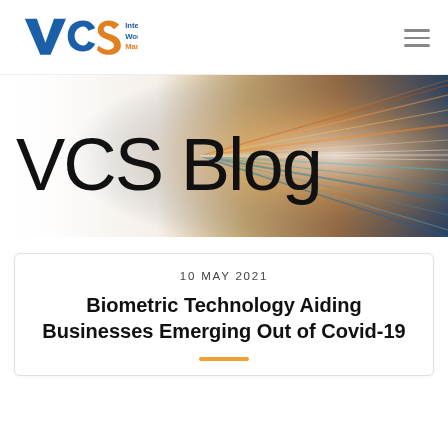[Figure (logo): VCS Intelligent Workforce Management logo with blue and orange lettering]
[Figure (photo): Hero banner with large 'VCS Blog' text overlaid on a blurred motion/technology background image in warm orange and teal tones]
10 MAY 2021
Biometric Technology Aiding Businesses Emerging Out of Covid-19